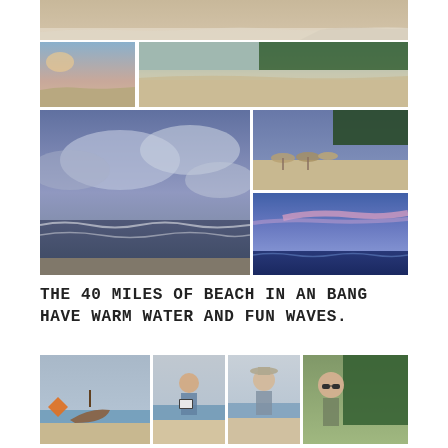[Figure (photo): Sandy beach panorama with waves and footprints, top strip]
[Figure (photo): Sunset sky over beach shoreline, small left photo]
[Figure (photo): Wide sandy beach with trees in background, right photo]
[Figure (photo): Dramatic cloudy sky over ocean with waves, large left photo]
[Figure (photo): Beach resort with thatched umbrellas and trees, upper right]
[Figure (photo): Vivid blue-purple sunset sky over ocean, lower right]
THE 40 MILES OF BEACH IN AN BANG HAVE WARM WATER AND FUN WAVES.
[Figure (photo): Wooden fishing boat on beach, with orange diamond shape]
[Figure (photo): Person on beach reading a Kindle]
[Figure (photo): Woman with hat on beach, smiling]
[Figure (photo): Woman with sunglasses outdoors near trees]